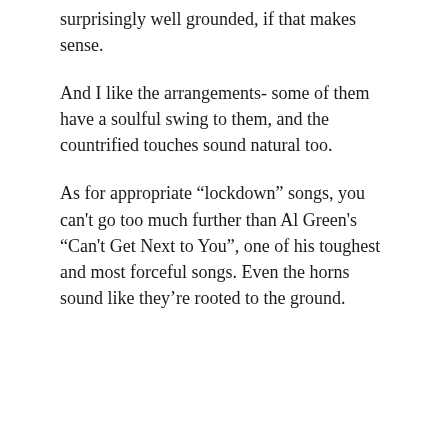surprisingly well grounded, if that makes sense.
And I like the arrangements- some of them have a soulful swing to them, and the countrified touches sound natural too.
As for appropriate “lockdown” songs, you can't go too much further than Al Green's “Can't Get Next to You”, one of his toughest and most forceful songs. Even the horns sound like they’re rooted to the ground.